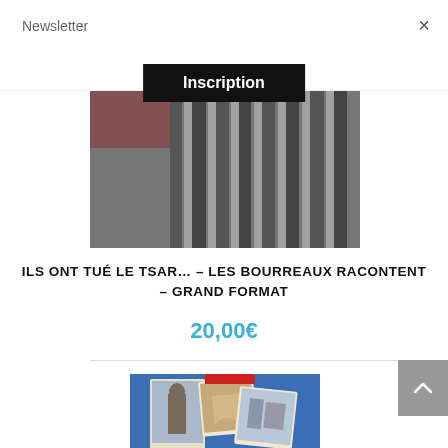Newsletter
×
Inscription
[Figure (photo): Black and white photo of book cover showing bars/cage-like structure]
ILS ONT TUÉ LE TSAR… – LES BOURREAUX RACONTENT – GRAND FORMAT
20,00€
[Figure (photo): Book cover with postcard-style images including a statue and architectural scenes on blue background]